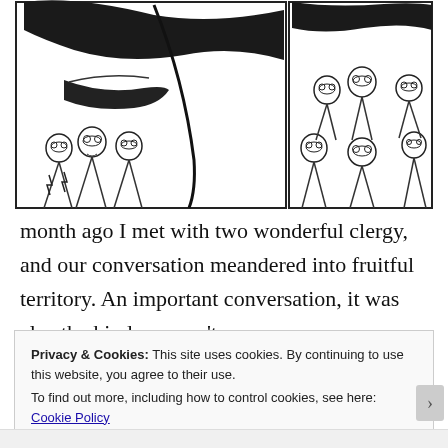[Figure (illustration): Black and white ink sketch showing a close-up of a person's face (large jaw, mustache) in the center-left panel, with groups of people wearing glasses visible in two panels. The illustration appears to be a comic or editorial cartoon style drawing.]
month ago I met with two wonderful clergy, and our conversation meandered into fruitful territory. An important conversation, it was also the kind you can't
Privacy & Cookies: This site uses cookies. By continuing to use this website, you agree to their use.
To find out more, including how to control cookies, see here: Cookie Policy
Close and accept